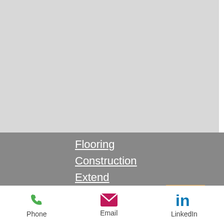[Figure (photo): Light grey image area at top of mobile app screen]
Flooring
Construction
Extend
Case Studies
Our Team
About Us
[Figure (other): Orange/amber scroll-to-top button with upward chevron arrow]
Phone   Email   LinkedIn